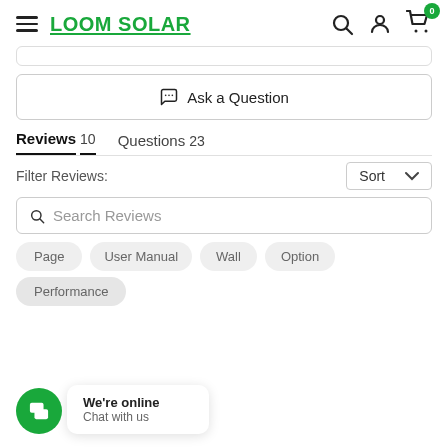LOOM SOLAR
Ask a Question
Reviews 10   Questions 23
Filter Reviews:
Search Reviews
Page
User Manual
Wall
Option
Performance
We're online
Chat with us